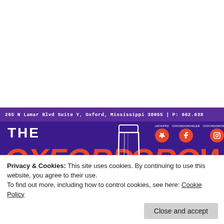[Figure (screenshot): The Oxford Growler website header screenshot showing purple banner with store name, beer glass illustration, social media icons, and address bar reading '265 N Lamar Blvd Suite Y, Oxford, Mississippi 38655 | P: 662.638...']
Privacy & Cookies: This site uses cookies. By continuing to use this website, you agree to their use.
To find out more, including how to control cookies, see here: Cookie Policy
Close and accept